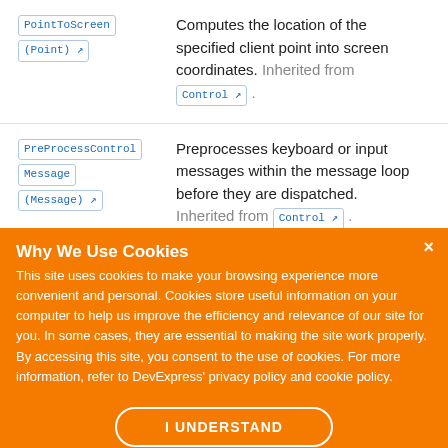PointToScreen(Point) — Computes the location of the specified client point into screen coordinates. Inherited from Control.
PreProcessControlMessage(Message) — Preprocesses keyboard or input messages within the message loop before they are dispatched. Inherited from Control.
Why We Use Cookies
This site uses cookies to make your browsing experience more convenient and personal. Cookies store useful information on your computer to help us improve the efficiency and relevance of our site for you. In some cases, they are essential to making the site work properly. By accessing this site, you consent to the use of cookies. For more information, refer to DevExpress' privacy policy and cookie policy.
I UNDERSTAND